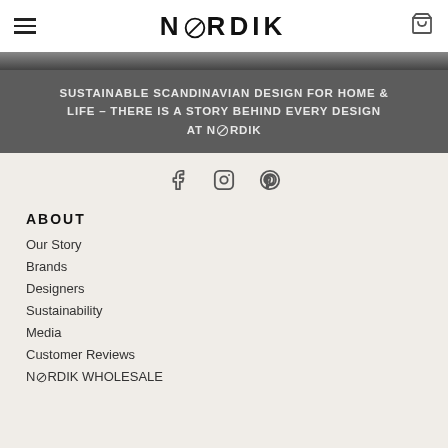NØRDIK
[Figure (photo): Partial hero image strip at top, dark tones]
SUSTAINABLE SCANDINAVIAN DESIGN FOR HOME & LIFE – THERE IS A STORY BEHIND EVERY DESIGN AT NØRDIK
[Figure (infographic): Social media icons: Facebook, Instagram, Pinterest]
ABOUT
Our Story
Brands
Designers
Sustainability
Media
Customer Reviews
NØRDIK WHOLESALE